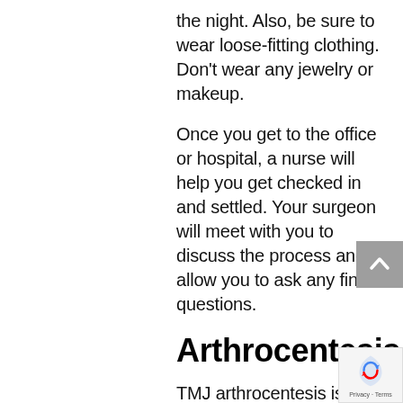the night. Also, be sure to wear loose-fitting clothing. Don't wear any jewelry or makeup.
Once you get to the office or hospital, a nurse will help you get checked in and settled. Your surgeon will meet with you to discuss the process and allow you to ask any final questions.
Arthrocentesis
TMJ arthrocentesis is performed under local anesthesia, which simply numbs the area around the joint. Once the anesthesia has numbed the area, your surgeon will insert